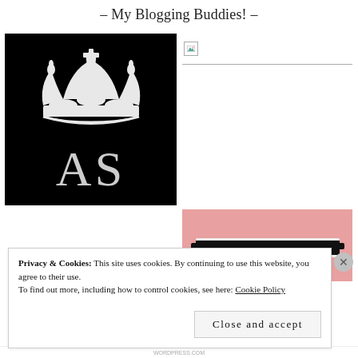- My Blogging Buddies! -
[Figure (logo): Black background image with a white crown (Keep Calm style) and large letters AS below it]
[Figure (photo): Broken/missing image placeholder in top right]
[Figure (photo): Pink background image with a dark horizontal bar element, partially visible]
Privacy & Cookies: This site uses cookies. By continuing to use this website, you agree to their use.
To find out more, including how to control cookies, see here: Cookie Policy
Close and accept